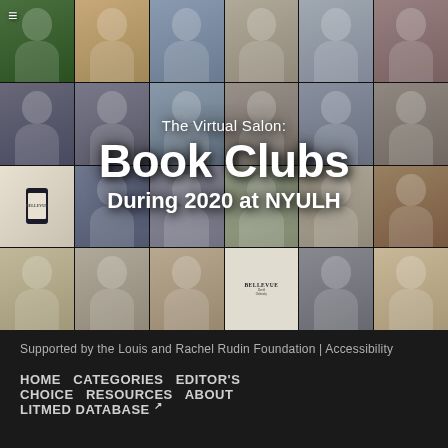[Figure (photo): Grid of video call participants in virtual book club meeting, with overlaid text reading 'The Virtual Salon: Book Clubs During 2020 at NYULH']
Supported by the Louis and Rachel Rudin Foundation | Accessibility
HOME  CATEGORIES  EDITOR'S CHOICE  RESOURCES  ABOUT
LITMED DATABASE ↗